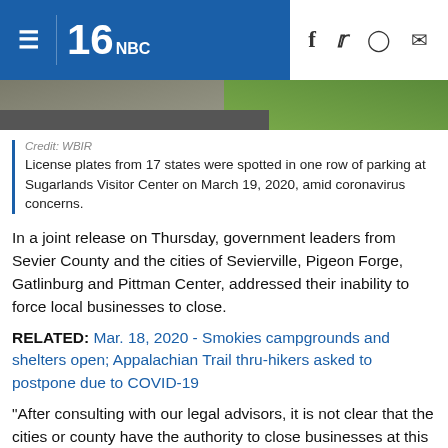WBIR News — Navigation and social sharing header
[Figure (photo): Partial photo of a parking lot road area with grass, from WBIR news broadcast]
Credit: WBIR
License plates from 17 states were spotted in one row of parking at Sugarlands Visitor Center on March 19, 2020, amid coronavirus concerns.
In a joint release on Thursday, government leaders from Sevier County and the cities of Sevierville, Pigeon Forge, Gatlinburg and Pittman Center, addressed their inability to force local businesses to close.
RELATED: Mar. 18, 2020 - Smokies campgrounds and shelters open; Appalachian Trail thru-hikers asked to postpone due to COVID-19
"After consulting with our legal advisors, it is not clear that the cities or county have the authority to close businesses at this time, during this stage of the public health crisis